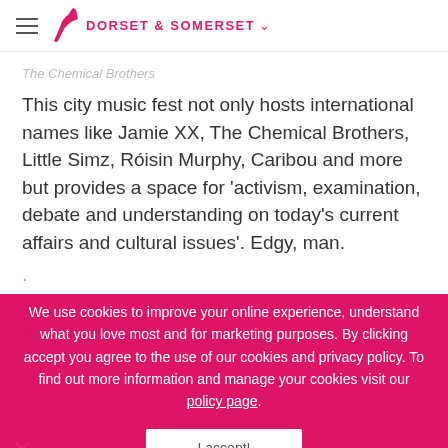DORSET & SOMERSET
The Chemical Brothers
This city music fest not only hosts international names like Jamie XX, The Chemical Brothers, Little Simz, Róisin Murphy, Caribou and more but provides a space for 'activism, examination, debate and understanding on today's current affairs and cultural issues'. Edgy, man.
.
BEEN & GONE – LOOK FORWARD TO NEXT YEAR
Bristol Folk Festival, Venues around Bristol, Fri 29 Jun–1 Jul
Know your fiddle from your pirana? Then you'll be dancing a little jig when you know that Kate Rusby,
We use cookies to improve your online experience, understand what you love most and for marketing purposes. By clicking accept you agree to the use of our cookies and privacy policy. To find out more information and manage your cookies visit our policy page.
I accept!